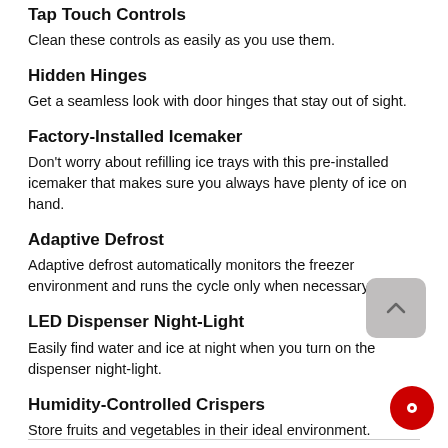Tap Touch Controls
Clean these controls as easily as you use them.
Hidden Hinges
Get a seamless look with door hinges that stay out of sight.
Factory-Installed Icemaker
Don't worry about refilling ice trays with this pre-installed icemaker that makes sure you always have plenty of ice on hand.
Adaptive Defrost
Adaptive defrost automatically monitors the freezer environment and runs the cycle only when necessary.
LED Dispenser Night-Light
Easily find water and ice at night when you turn on the dispenser night-light.
Humidity-Controlled Crispers
Store fruits and vegetables in their ideal environment.